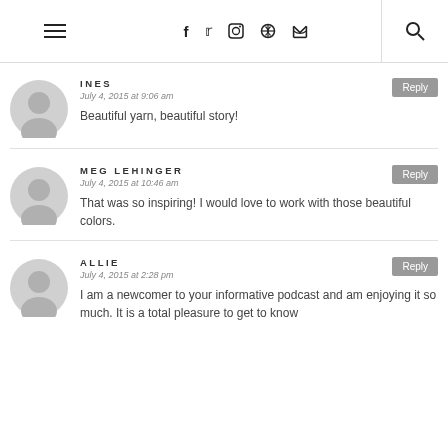Navigation bar with hamburger menu, social icons (f, Twitter, Instagram, Pinterest, RSS), and search icon
INES
July 4, 2015 at 9:06 am
Beautiful yarn, beautiful story!
MEG LEHINGER
July 4, 2015 at 10:46 am
That was so inspiring! I would love to work with those beautiful colors.
ALLIE
July 4, 2015 at 2:28 pm
I am a newcomer to your informative podcast and am enjoying it so much. It is a total pleasure to get to know